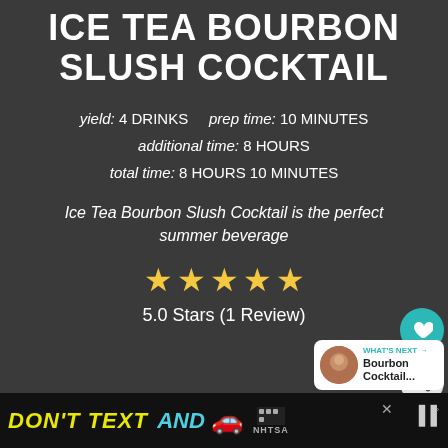ICE TEA BOURBON SLUSH COCKTAIL
yield: 4 DRINKS   prep time: 10 MINUTES
additional time: 8 HOURS
total time: 8 HOURS 10 MINUTES
Ice Tea Bourbon Slush Cocktail is the perfect summer beverage
[Figure (infographic): 5 gold stars rating]
5.0 Stars (1 Review)
[Figure (infographic): Heart favorite button and share button on right side]
[Figure (infographic): What's Next card showing Bourbon Cocktail with thumbnail]
[Figure (infographic): Ad banner: DON'T TEXT AND [car emoji] NHTSA advertisement]